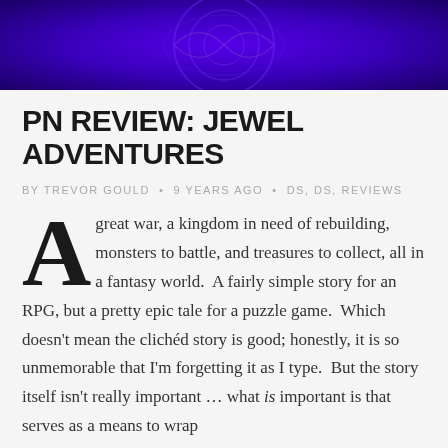[Figure (illustration): Purple/violet decorative banner image with ornate design elements]
PN REVIEW: JEWEL ADVENTURES
BY TREVOR GOULD • 9 YEARS AGO • DS, DS, REVIEWS
A great war, a kingdom in need of rebuilding, monsters to battle, and treasures to collect, all in a fantasy world. A fairly simple story for an RPG, but a pretty epic tale for a puzzle game. Which doesn't mean the clichéd story is good; honestly, it is so unmemorable that I'm forgetting it as I type. But the story itself isn't really important … what is important is that serves as a means to wrap